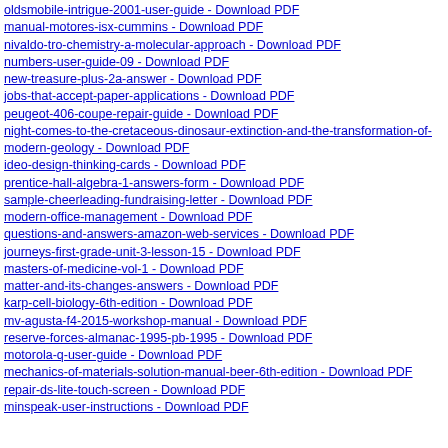oldsmobile-intrigue-2001-user-guide - Download PDF
manual-motores-isx-cummins - Download PDF
nivaldo-tro-chemistry-a-molecular-approach - Download PDF
numbers-user-guide-09 - Download PDF
new-treasure-plus-2a-answer - Download PDF
jobs-that-accept-paper-applications - Download PDF
peugeot-406-coupe-repair-guide - Download PDF
night-comes-to-the-cretaceous-dinosaur-extinction-and-the-transformation-of-modern-geology - Download PDF
ideo-design-thinking-cards - Download PDF
prentice-hall-algebra-1-answers-form - Download PDF
sample-cheerleading-fundraising-letter - Download PDF
modern-office-management - Download PDF
questions-and-answers-amazon-web-services - Download PDF
journeys-first-grade-unit-3-lesson-15 - Download PDF
masters-of-medicine-vol-1 - Download PDF
matter-and-its-changes-answers - Download PDF
karp-cell-biology-6th-edition - Download PDF
mv-agusta-f4-2015-workshop-manual - Download PDF
reserve-forces-almanac-1995-pb-1995 - Download PDF
motorola-q-user-guide - Download PDF
mechanics-of-materials-solution-manual-beer-6th-edition - Download PDF
repair-ds-lite-touch-screen - Download PDF
minspeak-user-instructions - Download PDF